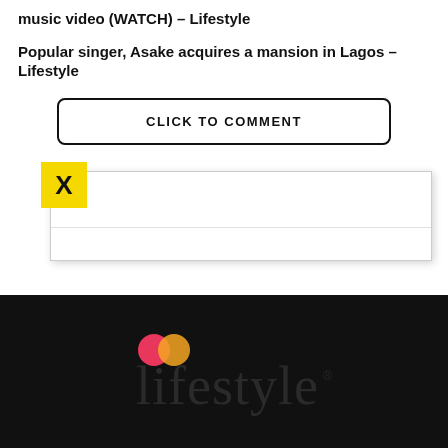music video (WATCH) – Lifestyle
Popular singer, Asake acquires a mansion in Lagos – Lifestyle
CLICK TO COMMENT
[Figure (screenshot): Ad overlay with yellow X close button on white box with gray border]
[Figure (logo): Lifestyle brand logo in dark gray on black background with colorful dot icon]